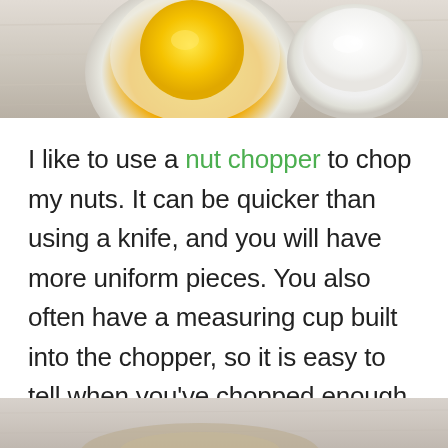[Figure (photo): Top portion of a food photo showing two bowls on a light wooden surface — one bowl with an egg yolk (yellow) and one small bowl with a white creamy substance.]
I like to use a nut chopper to chop my nuts. It can be quicker than using a knife, and you will have more uniform pieces. You also often have a measuring cup built into the chopper, so it is easy to tell when you've chopped enough.
[Figure (photo): Bottom portion of a food photo, partially visible at the bottom edge of the page.]